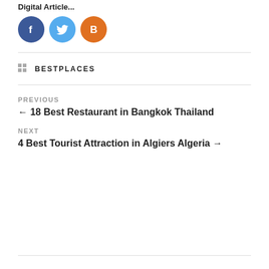Digital Article...
[Figure (illustration): Three social media icons: Facebook (blue circle with f), Twitter (light blue circle with bird), Blogger (orange circle with B)]
BESTPLACES
PREVIOUS
← 18 Best Restaurant in Bangkok Thailand
NEXT
4 Best Tourist Attraction in Algiers Algeria →